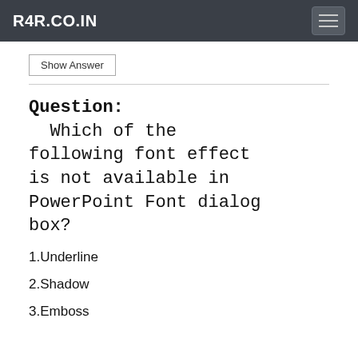R4R.CO.IN
Show Answer
Question:
  Which of the following font effect is not available in PowerPoint Font dialog box?
1.Underline
2.Shadow
3.Emboss